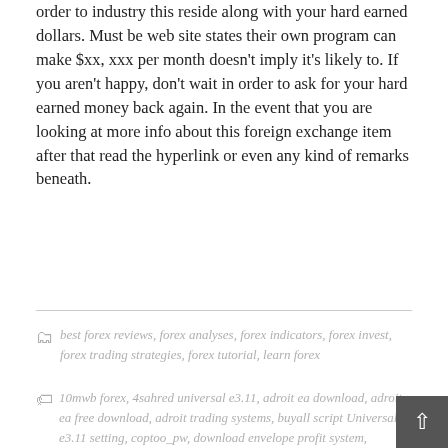order to industry this reside along with your hard earned dollars. Must be web site states their own program can make $xx, xxx per month doesn’t imply it’s likely to. If you aren’t happy, don’t wait in order to ask for your hard earned money back again. In the event that you are looking at more info about this foreign exchange item after that read the hyperlink or even any kind of remarks beneath.
best forex reviews, forex analyses, forex indicators, forex invest, forex trading strategies, forex tutorial, learn forex
10mwb forex, 4sahred universal e3.11, adroit ea download, adroit ea free download, adroit trading systems, buyall script Universal e3.11 setting, coptoo_pw, download envelope profit system, dreamsignalv3.0, envelope profit system free download, envelope system mq4, envelopeprofitsystem download, envelopes profit system, forex betelgeuse scalper, forex universal-e3.11 ea, forexautomatorpro free, forexbillkiller.com forum discussion, free download mywid forex system, free download profit system, fx-cash-formula, gridzilla.mq4, mbfx, mbfx trading, mywid system free download, pandabot_thep1, pbforex_indicators, r ayforexretracereabothversions, thepipcatcher, universal e3.11 forex download, universal e3.11 forex system,